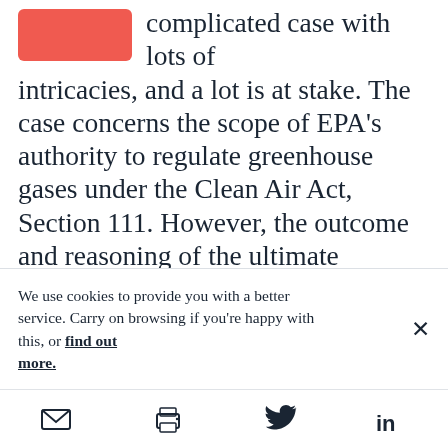complicated case with lots of intricacies, and a lot is at stake. The case concerns the scope of EPA's authority to regulate greenhouse gases under the Clean Air Act, Section 111. However, the outcome and reasoning of the ultimate decision may have a dampening effect on ambitious regulatory programs far beyond Section 111—and far beyond even the Clean Air Act itself.
We use cookies to provide you with a better service. Carry on browsing if you're happy with this, or find out more.
[Figure (other): Bottom toolbar with email, print, Twitter, and LinkedIn sharing icons]